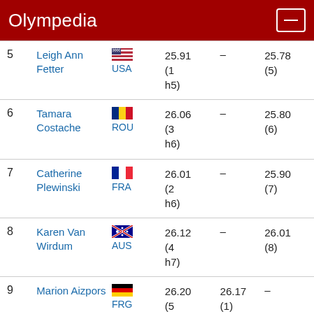Olympedia
| Rank | Name | Country | Heat |  | Final |
| --- | --- | --- | --- | --- | --- |
| 5 | Leigh Ann Fetter | USA | 25.91 (1 h5) | – | 25.78 (5) |
| 6 | Tamara Costache | ROU | 26.06 (3 h6) | – | 25.80 (6) |
| 7 | Catherine Plewinski | FRA | 26.01 (2 h6) | – | 25.90 (7) |
| 8 | Karen Van Wirdum | AUS | 26.12 (4 h7) | – | 26.01 (8) |
| 9 | Marion Aizpors | FRG | 26.20 (5 h7) | 26.17 (1) | – |